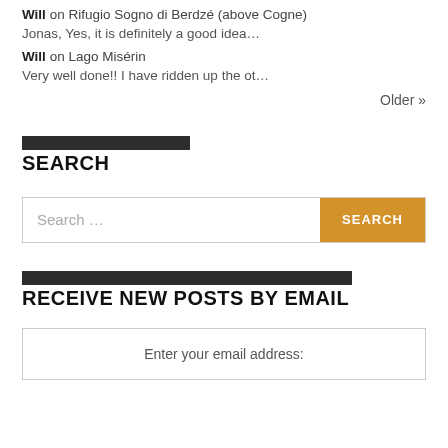Will on Rifugio Sogno di Berdzé (above Cogne)
Jonas, Yes, it is definitely a good idea…
Will on Lago Misérin
Very well done!! I have ridden up the ot…
Older »
SEARCH
Search …
RECEIVE NEW POSTS BY EMAIL
Enter your email address: